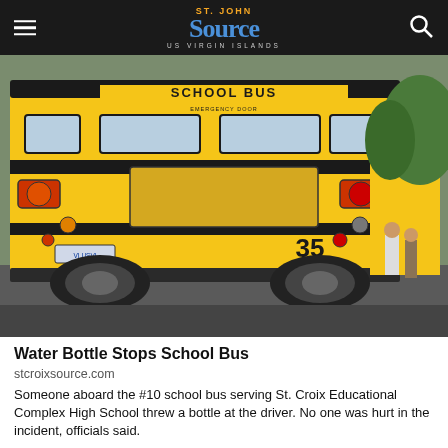The St. John Source - US Virgin Islands
[Figure (photo): Rear view of a yellow school bus labeled 'SCHOOL BUS' and 'STOP ON SIGNAL' with number 35 on the back, parked near a school with people visible on the right side.]
Water Bottle Stops School Bus
stcroixsource.com
Someone aboard the #10 school bus serving St. Croix Educational Complex High School threw a bottle at the driver. No one was hurt in the incident, officials said.